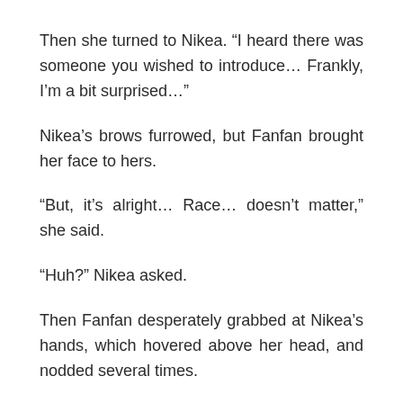Then she turned to Nikea. “I heard there was someone you wished to introduce… Frankly, I’m a bit surprised…”
Nikea’s brows furrowed, but Fanfan brought her face to hers.
“But, it’s alright… Race… doesn’t matter,” she said.
“Huh?” Nikea asked.
Then Fanfan desperately grabbed at Nikea’s hands, which hovered above her head, and nodded several times.
“Lord Nikea, I’ll support you!”
Nikea tilted her head, puzzled, but Fanfan’s eyes were